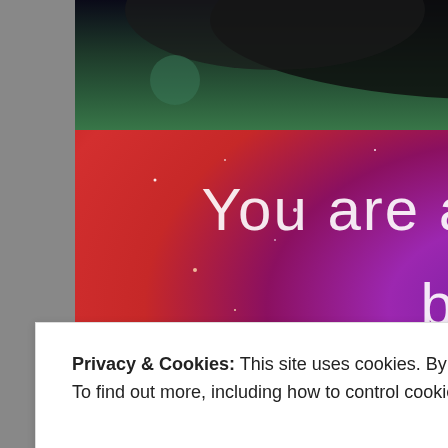[Figure (photo): Top strip showing a close-up of a furry animal (possibly a cat or bear), dark fur with colorful bokeh lighting.]
[Figure (photo): Galaxy/nebula background image in purple, red, and pink tones with white stars, overlaid with white handwritten-style text reading: 'You are allowed to be both a Masterpiece and a']
Privacy & Cookies: This site uses cookies. By continuing to use this website, you agree to their use.
To find out more, including how to control cookies, see here: Cookie Policy
[Figure (photo): Bottom strip showing a colorful image with green and blue tones.]